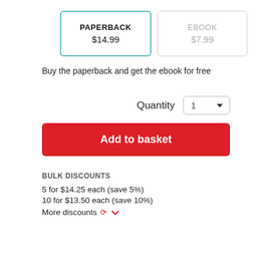PAPERBACK $14.99
EBOOK $7.99
Buy the paperback and get the ebook for free
Quantity 1
Add to basket
BULK DISCOUNTS
5 for $14.25 each (save 5%)
10 for $13.50 each (save 10%)
More discounts